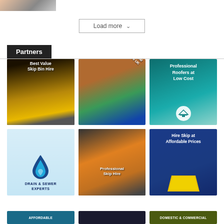[Figure (photo): Partial thumbnail image at top left]
Load more ˅
Partners
[Figure (infographic): Best Value Skip Bin Hire - yellow skip bin advertisement]
[Figure (infographic): Professional Skip Hire UK - green and orange skip with diagonal blue banner]
[Figure (infographic): Professional Roofers at Low Cost - teal background with roof icon]
[Figure (infographic): Drain & Sewer Experts - light blue background with water drop logo]
[Figure (infographic): Professional Skip Hire - orange skip containers photo]
[Figure (infographic): Hire Skip at Affordable Prices - dark blue with yellow skip bin]
[Figure (infographic): AFFORDABLE - partial tile at bottom left]
[Figure (infographic): Partial tile at bottom center]
[Figure (infographic): DOMESTIC & COMMERCIAL - partial tile at bottom right]